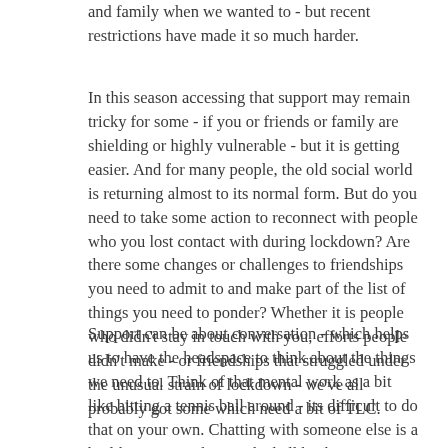and family when we wanted to - but recent restrictions have made it so much harder.
In this season accessing that support may remain tricky for some - if you or friends or family are shielding or highly vulnerable - but it is getting easier. And for many people, the old social world is returning almost to its normal form. But do you need to take some action to reconnect with people who you lost contact with during lockdown? Are there some changes or challenges to friendships you need to admit to and make part of the list of things you need to ponder? Whether it is people who didn't stay in touch with you, efforts people didn't make - or friendships that struggled under the unusual strain of lockdown - we've all probably got some which need a bit of TLC.
Support can be about conversation - which helps us to have the headspace to think about the things we need to. Think of that mental work as a bit like hitting a tennis ball around - its difficult to do that on your own. Chatting with someone else is a bit like someone hitting the ball back to you so you can hit it again - and conversation helps us to keep that mental 'rally' going. It doesn't always need any particular direction - just bashing the ball back and forth a bit...